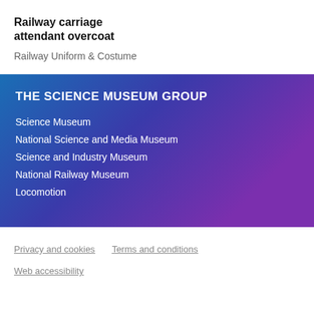Railway carriage attendant overcoat
Railway Uniform & Costume
THE SCIENCE MUSEUM GROUP
Science Museum
National Science and Media Museum
Science and Industry Museum
National Railway Museum
Locomotion
Privacy and cookies   Terms and conditions
Web accessibility